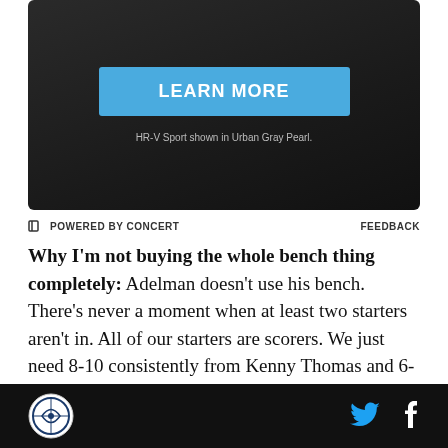[Figure (other): Dark advertisement banner with a blue 'LEARN MORE' button and caption 'HR-V Sport shown in Urban Gray Pearl.']
POWERED BY CONCERT    FEEDBACK
Why I'm not buying the whole bench thing completely: Adelman doesn't use his bench. There's never a moment when at least two starters aren't in. All of our starters are scorers. We just need 8-10 consistently from Kenny Thomas and 6-8 points from Jason Hart or Kevin Martin to compete every night, as long as a starter isn't forced to the bench by injuries or foul trouble. The idea that you need a bench player like